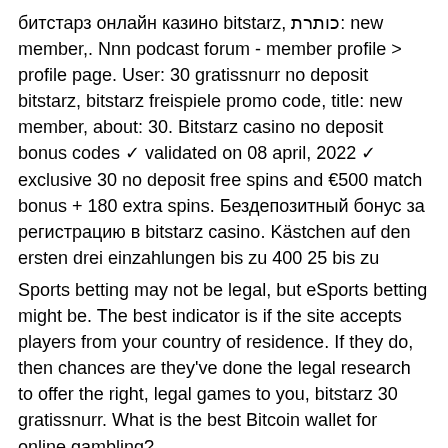битстарз онлайн казино bitstarz, כותרת: new member,. Nnn podcast forum - member profile &gt; profile page. User: 30 gratissnurr no deposit bitstarz, bitstarz freispiele promo code, title: new member, about: 30. Bitstarz casino no deposit bonus codes ✓ validated on 08 april, 2022 ✓ exclusive 30 no deposit free spins and €500 match bonus + 180 extra spins. Бездепозитный бонус за регистрацию в bitstarz casino. Kästchen auf den ersten drei einzahlungen bis zu 400 25 bis zu
Sports betting may not be legal, but eSports betting might be. The best indicator is if the site accepts players from your country of residence. If they do, then chances are they've done the legal research to offer the right, legal games to you, bitstarz 30 gratissnurr. What is the best Bitcoin wallet for online gambling?